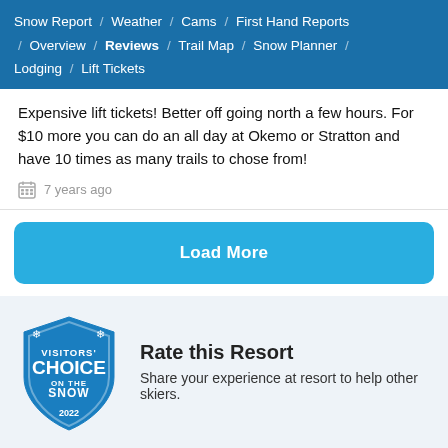Snow Report / Weather / Cams / First Hand Reports / Overview / Reviews / Trail Map / Snow Planner / Lodging / Lift Tickets
Expensive lift tickets! Better off going north a few hours. For $10 more you can do an all day at Okemo or Stratton and have 10 times as many trails to chose from!
7 years ago
Load More
Rate this Resort
Share your experience at resort to help other skiers.